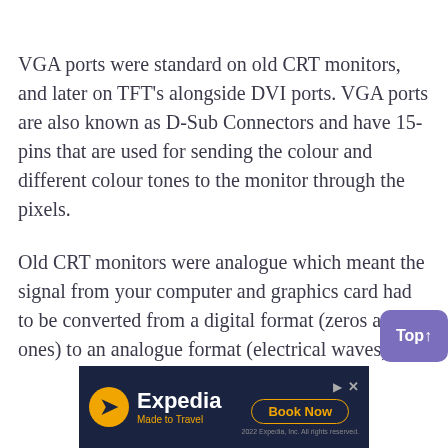VGA ports were standard on old CRT monitors, and later on TFT's alongside DVI ports. VGA ports are also known as D-Sub Connectors and have 15-pins that are used for sending the colour and different colour tones to the monitor through the pixels.
Old CRT monitors were analogue which meant the signal from your computer and graphics card had to be converted from a digital format (zeros and ones) to an analogue format (electrical waves).
[Figure (other): Expedia advertisement banner with logo, 'Made to Travel' tagline, and 'Book Now' button on dark navy background]